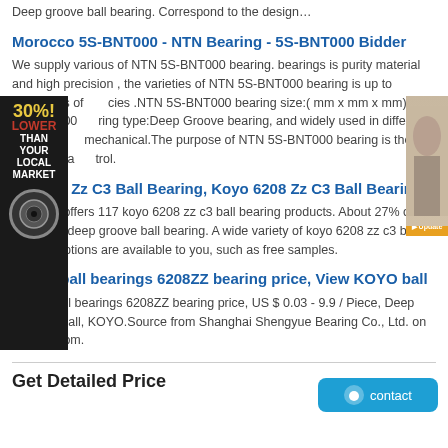Deep groove ball bearing. Correspond to the design…
Morocco 5S-BNT000 - NTN Bearing - 5S-BNT000 Bidder
We supply various of NTN 5S-BNT000 bearing. bearings is purity material and high precision , the varieties of NTN 5S-BNT000 bearing is up to thousands of cies .NTN 5S-BNT000 bearing size:( mm x mm x mm);NTN 5S-BNT000 ring type:Deep Groove bearing, and widely used in different environm mechanical.The purpose of NTN 5S-BNT000 bearing is the operation a trol.
yo 6208 Zz C3 Ball Bearing, Koyo 6208 Zz C3 Ball Bearing
aba.com offers 117 koyo 6208 zz c3 ball bearing products. About 27% of these are deep groove ball bearing. A wide variety of koyo 6208 zz c3 ball bearing options are available to you, such as free samples.
KOYO ball bearings 6208ZZ bearing price, View KOYO ball
KOYO ball bearings 6208ZZ bearing price, US $ 0.03 - 9.9 / Piece, Deep Groove, Ball, KOYO.Source from Shanghai Shengyue Bearing Co., Ltd. on Alibaba.com.
Get Detailed Price